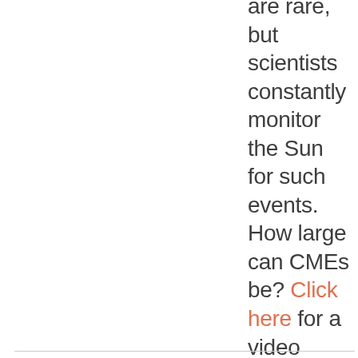are rare, but scientists constantly monitor the Sun for such events. How large can CMEs be? Click here for a video about the journey of an extremely large CME that occurred in 2012!